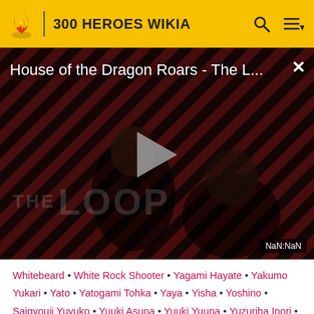300 HEROES WIKIA
[Figure (screenshot): Video player showing 'House of the Dragon Roars - The L...' with a play button overlay, diagonal stripe background in red/dark pattern, silhouette of person, THE LOOP watermark, and NaN:NaN timestamp badge]
Whitebeard • White Rock Shooter • Yagami Hayate • Yakumo Yukari • Yato • Yatogami Tohka • Yaya • Yisha • Yoshino • Saigyouji Yuyuko • Yuuki Asuna • Yuuki Yuuna • Yuzuriha Inori • Zeng Xiaoxian • Zhang Fei
Refresh